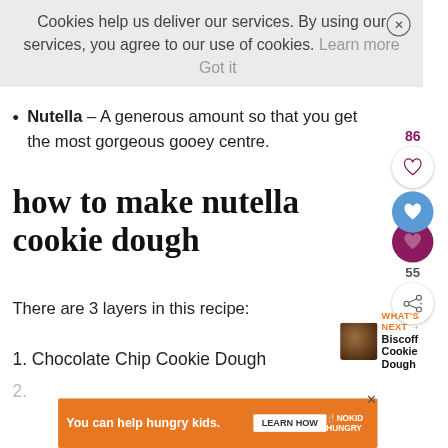[Figure (screenshot): Cookie consent banner overlay with close button (X), text about cookies policy, Learn more and Got it links, partially covering page content behind it]
Chocolate Chips – I use dark, milk and white (faded/partially visible behind overlay)
Nutella – A generous amount so that you get the most gorgeous gooey centre.
how to make nutella cookie dough
There are 3 layers in this recipe:
1. Chocolate Chip Cookie Dough
[Figure (infographic): Social sharing sidebar showing 86 count with heart icon, blue heart circle, purple heart circle overlapping, 55 count, and share icon]
[Figure (infographic): What's Next widget showing Biscoff Cookie Dough with small food photo thumbnail]
[Figure (infographic): Ad banner: orange background, text 'You can help hungry kids.' with No Kid Hungry logo and Learn How button, X close button]